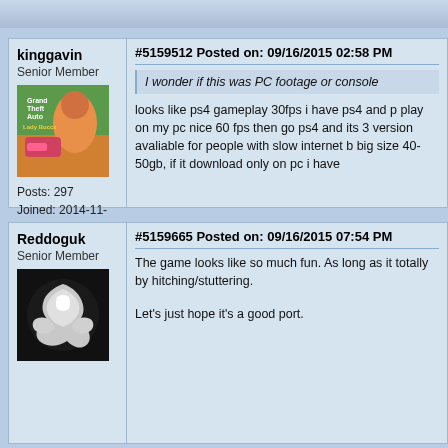kinggavin
Senior Member
Posts: 297
Joined: 2014-11-06
#5159512 Posted on: 09/16/2015 02:58 PM
I wonder if this was PC footage or console
looks like ps4 gameplay 30fps i have ps4 and p play on my pc nice 60 fps then go ps4 and its 3 version avaliable for people with slow internet b big size 40-50gb, if it download only on pc i have
Reddoguk
Senior Member
#5159665 Posted on: 09/16/2015 07:54 PM
The game looks like so much fun. As long as it totally by hitching/stuttering.
Let's just hope it's a good port.